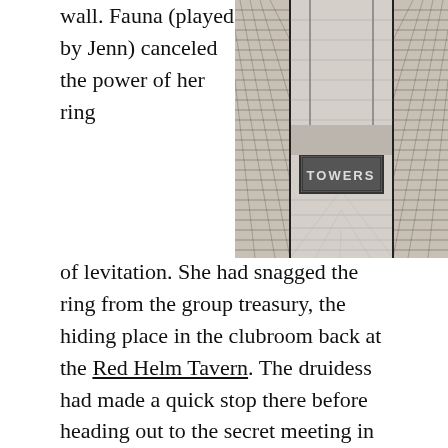wall. Fauna (played by Jenn) canceled the power of her ring of levitation. She had snagged the ring from the group treasury, the hiding place in the clubroom back at the Red Helm Tavern. The druidess had made a quick stop there before heading out to the secret meeting in the secret caverns beneath the Old Amphitheater.
[Figure (illustration): Black and white illustration showing a view looking down a stone corridor or dungeon entrance with wooden beams, hatched walls, and text/signage reading 'TOWERS' in stylized lettering at the center.]
Her feet landed softly onto the cold stone. She found herself back in a narrow lane of the maze. The floor was of damp flagstones and the walls were a chaotic patchwork of adobe, fired bricks, natural stone, and mortar. From every crack, uneven surface, and fissure grew twisted woody branches, clumps, and patches of